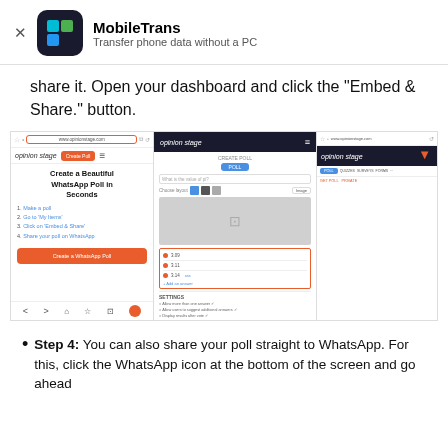MobileTrans — Transfer phone data without a PC
share it. Open your dashboard and click the “Embed & Share.” button.
[Figure (screenshot): Screenshot showing the Opinion Stage website with a poll creation interface. Three panels visible: left panel shows the Opinion Stage site with 'Create a Beautiful WhatsApp Poll in Seconds' heading and steps list; center panel shows the poll creation form with answer fields highlighted in orange border; right panel shows the Embed & Share section with an orange arrow pointing to a button.]
Step 4: You can also share your poll straight to WhatsApp. For this, click the WhatsApp icon at the bottom of the screen and go ahead.